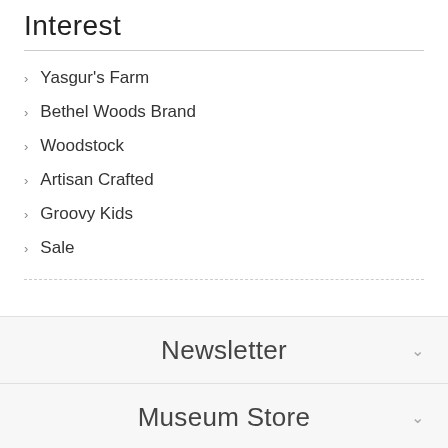Interest
Yasgur's Farm
Bethel Woods Brand
Woodstock
Artisan Crafted
Groovy Kids
Sale
Newsletter
Museum Store
Information